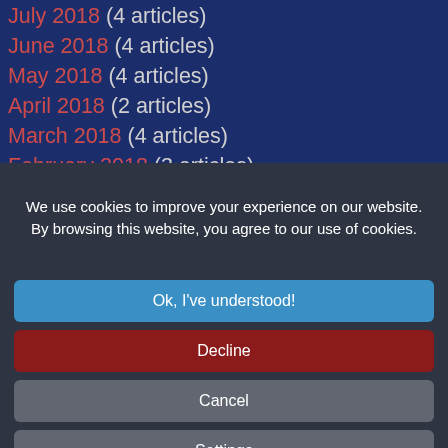July 2018 (4 articles)
June 2018 (4 articles)
May 2018 (4 articles)
April 2018 (2 articles)
March 2018 (4 articles)
February 2018 (3 articles)
We use cookies to improve your experience on our website. By browsing this website, you agree to our use of cookies.
Ok, I've understood!
Decline
Cancel
Settings
More Info